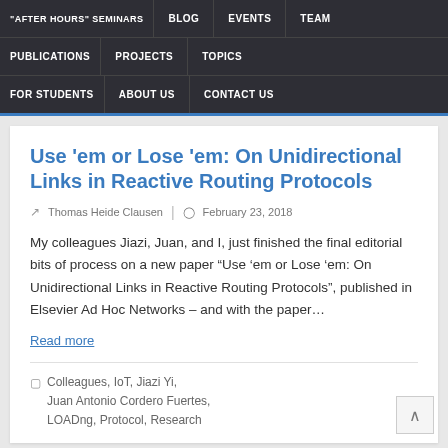"AFTER HOURS" SEMINARS | BLOG | EVENTS | TEAM | PUBLICATIONS | PROJECTS | TOPICS | FOR STUDENTS | ABOUT US | CONTACT US
Use 'em or Lose 'em: On Unidirectional Links in Reactive Routing Protocols
Thomas Heide Clausen | February 23, 2018
My colleagues Jiazi, Juan, and I, just finished the final editorial bits of process on a new paper “Use ’em or Lose ’em: On Unidirectional Links in Reactive Routing Protocols”, published in Elsevier Ad Hoc Networks – and with the paper…
Read more
Colleagues, IoT, Jiazi Yi, Juan Antonio Cordero Fuertes, LOADng, Protocol, Research